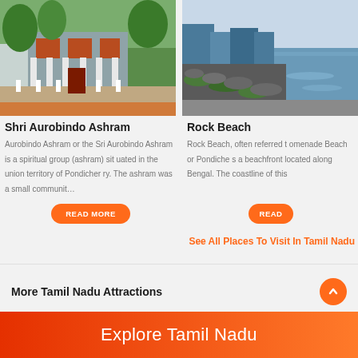[Figure (photo): Shri Aurobindo Ashram building exterior with trees, white pillars and fence, colorful facade]
Shri Aurobindo Ashram
Aurobindo Ashram or the Sri Aurobindo Ashram is a spiritual group (ashram) situated in the union territory of Pondicherry. The ashram was a small communit…
[Figure (photo): Rock Beach coastline with rocky shore and sea, city buildings visible in background, evening light]
Rock Beach
Rock Beach, often referred t omenade Beach or Pondiche s a beachfront located along Bengal. The coastline of this
See All Places To Visit In Tamil Nadu
More Tamil Nadu Attractions
Explore Tamil Nadu